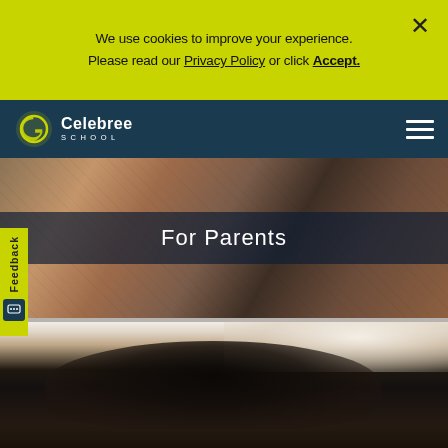We use cookies to improve your experience. Please read our Privacy Policy or click Accept.
Celebree School
For Parents
[Figure (photo): Hero background photo showing fabric textures in warm brown and dark tones with a navy overlay strip containing 'For Parents' text]
[Figure (photo): Close-up photo of a person with curly dark hair, partially visible, bright background]